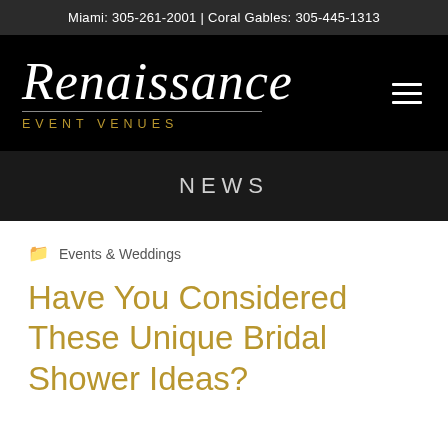Miami: 305-261-2001 | Coral Gables: 305-445-1313
[Figure (logo): Renaissance Event Venues logo — italic script 'Renaissance' in white with gold 'EVENT VENUES' text beneath a horizontal rule, on black background. Hamburger menu icon on the right.]
NEWS
Events & Weddings
Have You Considered These Unique Bridal Shower Ideas?